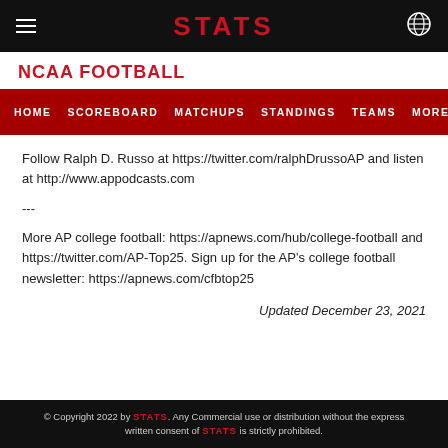STATS
NCAA FOOTBALL
HOME  SCOREBOARD  MATCHUPS  STANDINGS  TEAMS  MORE...
Follow Ralph D. Russo at https://twitter.com/ralphDrussoAP and listen at http://www.appodcasts.com
---
More AP college football: https://apnews.com/hub/college-football and https://twitter.com/AP-Top25. Sign up for the AP’s college football newsletter: https://apnews.com/cfbtop25
Updated December 23, 2021
© Copyright 2022 by STATS. Any Commercial use or distribution without the express written consent of STATS is strictly prohibited.